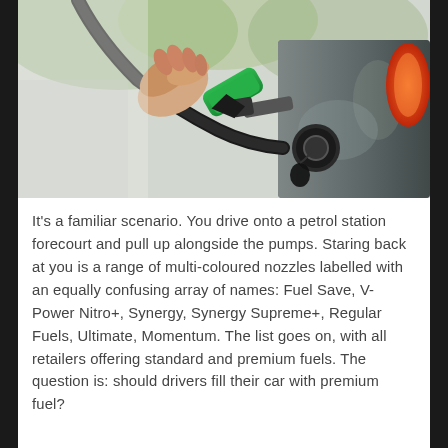[Figure (photo): A hand holding a green fuel pump nozzle inserting it into a car's fuel tank. The car body is dark/silver colored with a red tail light visible on the right side.]
It's a familiar scenario. You drive onto a petrol station forecourt and pull up alongside the pumps. Staring back at you is a range of multi-coloured nozzles labelled with an equally confusing array of names: Fuel Save, V-Power Nitro+, Synergy, Synergy Supreme+, Regular Fuels, Ultimate, Momentum. The list goes on, with all retailers offering standard and premium fuels. The question is: should drivers fill their car with premium fuel?